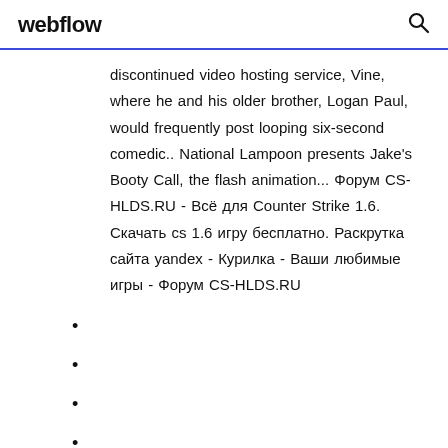webflow
discontinued video hosting service, Vine, where he and his older brother, Logan Paul, would frequently post looping six-second comedic.. National Lampoon presents Jake's Booty Call, the flash animation... Форум CS-HLDS.RU - Всё для Counter Strike 1.6. Скачать cs 1.6 игру бесплатно. Раскрутка сайта yandex - Курилка - Ваши любимые игры - Форум CS-HLDS.RU